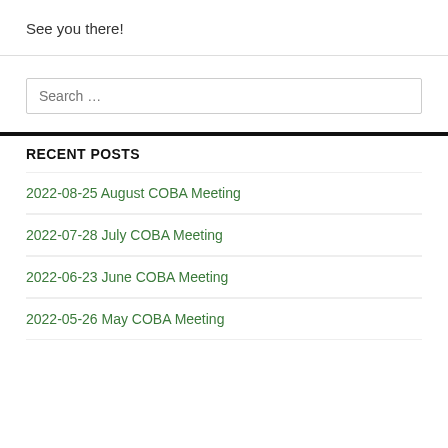See you there!
Search ...
RECENT POSTS
2022-08-25 August COBA Meeting
2022-07-28 July COBA Meeting
2022-06-23 June COBA Meeting
2022-05-26 May COBA Meeting